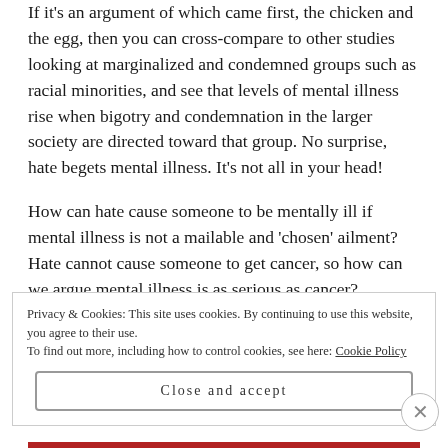If it's an argument of which came first, the chicken and the egg, then you can cross-compare to other studies looking at marginalized and condemned groups such as racial minorities, and see that levels of mental illness rise when bigotry and condemnation in the larger society are directed toward that group. No surprise, hate begets mental illness. It's not all in your head!
How can hate cause someone to be mentally ill if mental illness is not a mailable and 'chosen' ailment? Hate cannot cause someone to get cancer, so how can we argue mental illness is as serious as cancer?
Privacy & Cookies: This site uses cookies. By continuing to use this website, you agree to their use.
To find out more, including how to control cookies, see here: Cookie Policy
Close and accept